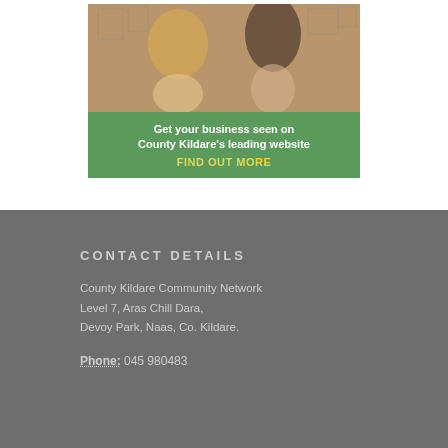[Figure (photo): Advertisement banner for County Kildare website featuring a hair salon photo of two women, one styling the other's hair. Green banner below reads: Get your business seen on County Kildare's leading website. FIND OUT MORE in yellow.]
CONTACT DETAILS
County Kildare Community Network
Level 7, Aras Chill Dara,
Devoy Park, Naas, Co. Kildare.
Phone: 045 980483